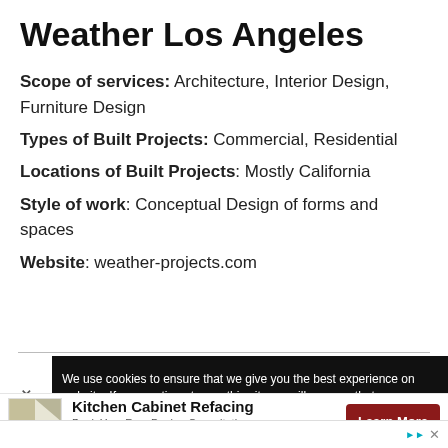Weather Los Angeles
Scope of services: Architecture, Interior Design, Furniture Design
Types of Built Projects: Commercial, Residential
Locations of Built Projects: Mostly California
Style of work: Conceptual Design of forms and spaces
Website: weather-projects.com
We use cookies to ensure that we give you the best experience on website. If you continue to use this site we will assume that you
[Figure (infographic): Advertisement banner for Kitchen Cabinet Refacing with logo, text 'Book Your Free Design Consultation Now Kitchen Saver' and a 'Learn More' button]